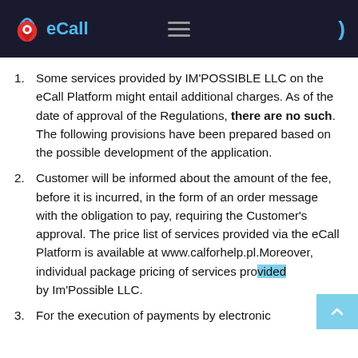eCall
Some services provided by IM'POSSIBLE LLC on the eCall Platform might entail additional charges. As of the date of approval of the Regulations, there are no such. The following provisions have been prepared based on the possible development of the application.
Customer will be informed about the amount of the fee, before it is incurred, in the form of an order message with the obligation to pay, requiring the Customer's approval. The price list of services provided via the eCall Platform is available at www.calforhelp.pl.Moreover, individual package pricing of services provided by Im'Possible LLC.
For the execution of payments by electronic